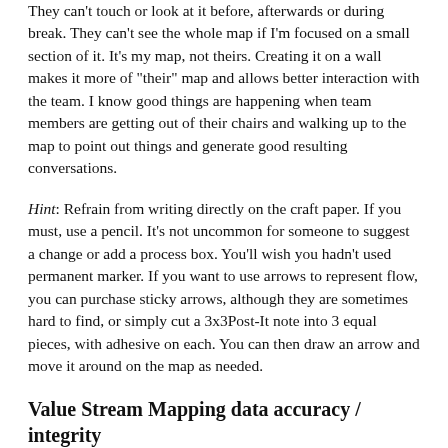They can't touch or look at it before, afterwards or during break. They can't see the whole map if I'm focused on a small section of it. It's my map, not theirs. Creating it on a wall makes it more of "their" map and allows better interaction with the team. I know good things are happening when team members are getting out of their chairs and walking up to the map to point out things and generate good resulting conversations.
Hint: Refrain from writing directly on the craft paper. If you must, use a pencil. It's not uncommon for someone to suggest a change or add a process box. You'll wish you hadn't used permanent marker. If you want to use arrows to represent flow, you can purchase sticky arrows, although they are sometimes hard to find, or simply cut a 3x3Post-It note into 3 equal pieces, with adhesive on each. You can then draw an arrow and move it around on the map as needed.
Value Stream Mapping data accuracy / integrity
In general, VSM is not a precise tool. Accuracy and precision may be required when working on subsequent projects such as line balancing, but don't overanalyze during your VSM. We need